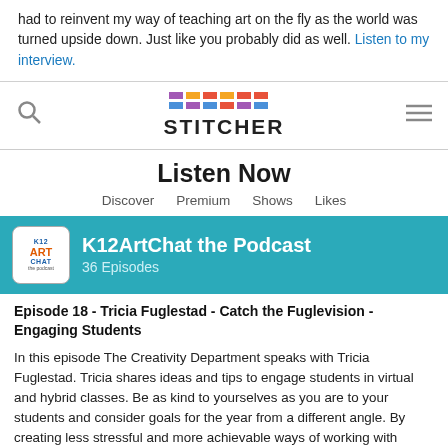had to reinvent my way of teaching art on the fly as the world was turned upside down. Just like you probably did as well. Listen to my interview.
[Figure (screenshot): Stitcher podcast app screenshot showing 'Listen Now' page with K12ArtChat the Podcast banner (36 Episodes), navigation tabs (Discover, Premium, Shows, Likes), and episode listing for Episode 18 - Tricia Fuglestad - Catch the Fuglevision - Engaging Students with description text.]